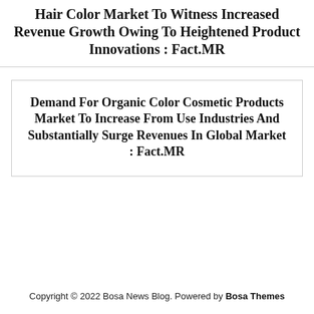Hair Color Market To Witness Increased Revenue Growth Owing To Heightened Product Innovations : Fact.MR
Demand For Organic Color Cosmetic Products Market To Increase From Use Industries And Substantially Surge Revenues In Global Market : Fact.MR
Copyright © 2022 Bosa News Blog. Powered by Bosa Themes